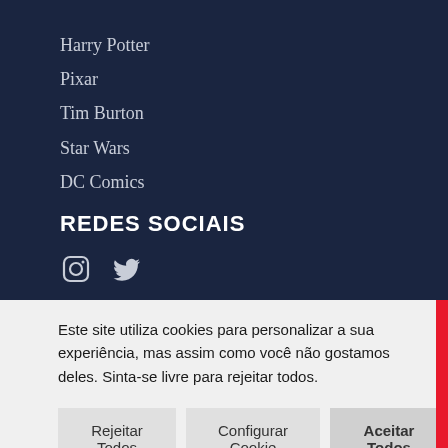Harry Potter
Pixar
Tim Burton
Star Wars
DC Comics
REDES SOCIAIS
[Figure (illustration): Instagram and Twitter social media icons in white/light color on dark navy background]
Este site utiliza cookies para personalizar a sua experiência, mas assim como você não gostamos deles. Sinta-se livre para rejeitar todos.
Rejeitar Todos | Configurar Cookie | Aceitar Todos